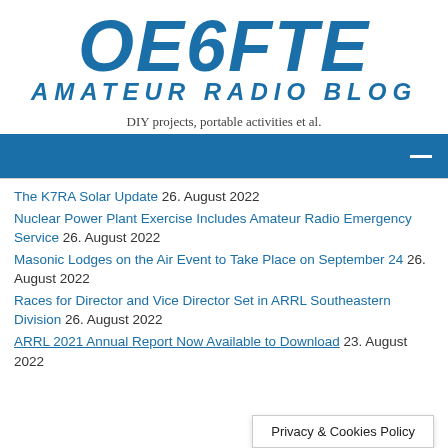OE6FTE AMATEUR RADIO BLOG
DIY projects, portable activities et al.
[Figure (other): Navigation bar with dark blue background and white hamburger menu icon]
The K7RA Solar Update 26. August 2022
Nuclear Power Plant Exercise Includes Amateur Radio Emergency Service 26. August 2022
Masonic Lodges on the Air Event to Take Place on September 24 26. August 2022
Races for Director and Vice Director Set in ARRL Southeastern Division 26. August 2022
ARRL 2021 Annual Report Now Available to Download 23. August 2022
Privacy & Cookies Policy